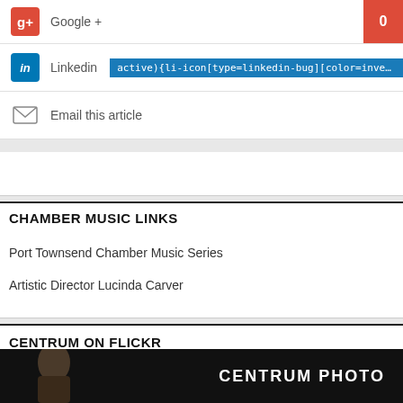Google +  0
Linkedin  active){li-icon[type=linkedin-bug][color=inverse] .background{fill
Email this article
CHAMBER MUSIC LINKS
Port Townsend Chamber Music Series
Artistic Director Lucinda Carver
CENTRUM ON FLICKR
[Figure (photo): Dark background image with a person and 'CENTRUM PHOTO' text overlay]